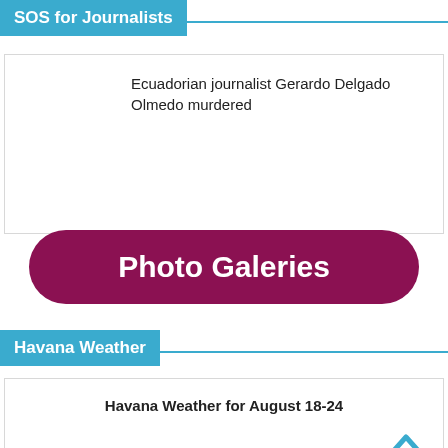SOS for Journalists
Ecuadorian journalist Gerardo Delgado Olmedo murdered
[Figure (other): Photo Galeries button - large rounded rectangle button with dark magenta/maroon background]
Havana Weather
Havana Weather for August 18-24